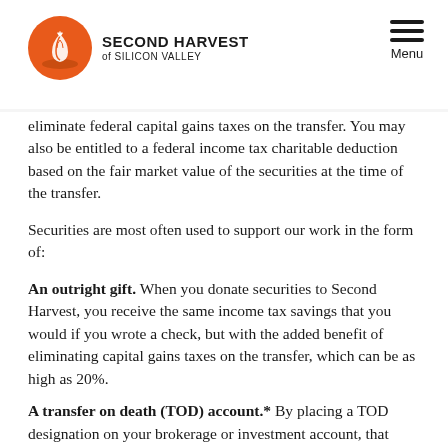Second Harvest of Silicon Valley | Menu
eliminate federal capital gains taxes on the transfer. You may also be entitled to a federal income tax charitable deduction based on the fair market value of the securities at the time of the transfer.
Securities are most often used to support our work in the form of:
An outright gift. When you donate securities to Second Harvest, you receive the same income tax savings that you would if you wrote a check, but with the added benefit of eliminating capital gains taxes on the transfer, which can be as high as 20%.
A transfer on death (TOD) account.* By placing a TOD designation on your brokerage or investment account, that account will be paid to one or more persons or charities